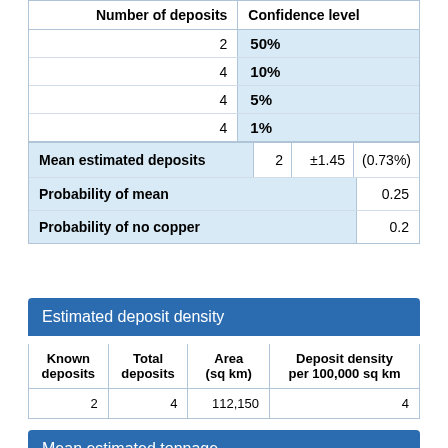| Number of deposits | Confidence level |
| --- | --- |
| 2 | 50% |
| 4 | 10% |
| 4 | 5% |
| 4 | 1% |
| Mean estimated deposits | 2 | ±1.45 | (0.73%) |
| Probability of mean |  | 0.25 |
| Probability of no copper |  | 0.2 |
Estimated deposit density
| Known deposits | Total deposits | Area (sq km) | Deposit density per 100,000 sq km |
| --- | --- | --- | --- |
| 2 | 4 | 112,150 | 4 |
Mean estimated tonnage